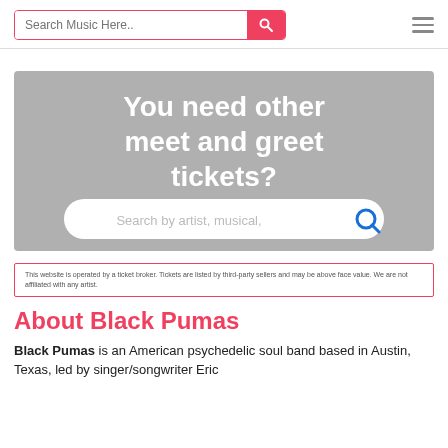Search Music Here..
[Figure (screenshot): Grey banner with white bold text: 'You need other meet and greet tickets?' and a search input below with placeholder 'Search by artist, musical,' and a blue search icon]
This website is operated by a ticket broker. Tickets are listed by third-party sellers and may be above face value. We are not affiliated with any artist.
About Black Pumas
Black Pumas is an American psychedelic soul band based in Austin, Texas, led by singer/songwriter Eric